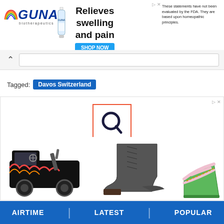[Figure (screenshot): Advertisement banner for GUNA biotherapeutics with logo, product bottle, headline 'Relieves swelling and pain', SHOP NOW button, and disclaimer text.]
[Figure (screenshot): Navigation bar with up-caret and search box.]
Tagged: Davos Switzerland
[Figure (screenshot): Advertisement area with Quora-style Q icon in red-bordered box, and product images: toy truck, grey ankle boot, green wedge sandal.]
AIRTIME | LATEST | POPULAR